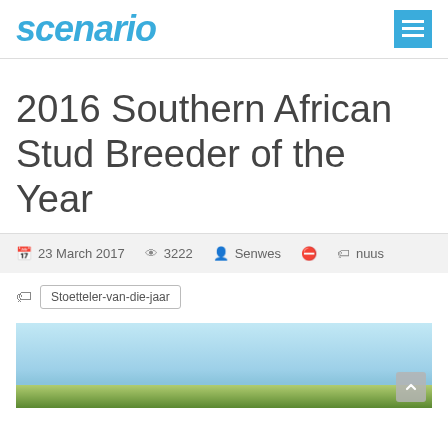scenario
2016 Southern African Stud Breeder of the Year
23 March 2017   3222   Senwes   nuus
Stoetteler-van-die-jaar
[Figure (photo): Outdoor photo showing sky and landscape at the bottom of the page]